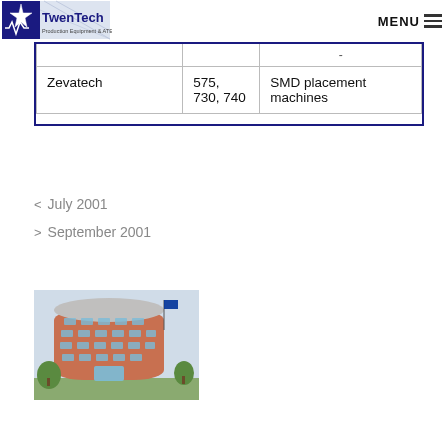TwenTech Production Equipment & ATE | MENU
|  |  | - |
| --- | --- | --- |
| Zevatech | 575, 730, 740 | SMD placement machines |
< July 2001
> September 2001
[Figure (photo): Exterior photo of a modern cylindrical office building with multiple floors of windows and a curved facade]